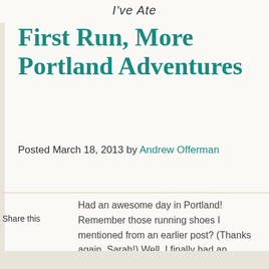I've Ate
First Run, More Portland Adventures
Posted March 18, 2013 by Andrew Offerman
Share this
Had an awesome day in Portland! Remember those running shoes I mentioned from an earlier post? (Thanks again, Sarah!) Well, I finally had an opportunity to use them this morning with very little lined up for my activities. Turns out that going for a run dictated the rest of my day for me.